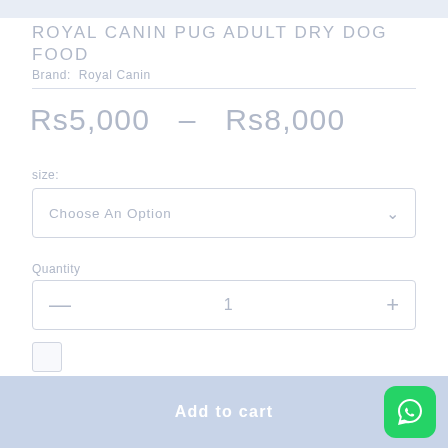ROYAL CANIN PUG ADULT DRY DOG FOOD
Brand: Royal Canin
Rs5,000  –  Rs8,000
size:
Choose An Option
Quantity
1
Add to cart